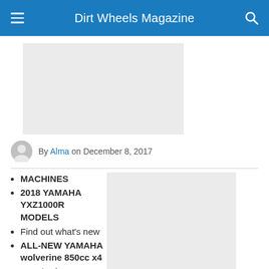Dirt Wheels Magazine
[Figure (other): Gray placeholder advertisement block]
By Alma on December 8, 2017
MACHINES
2018 YAMAHA YXZ1000R MODELS
Find out what’s new
ALL-NEW YAMAHA wolverine 850cc x4
Just the facts
PROJECT KTM/YAMAHA HYBRID